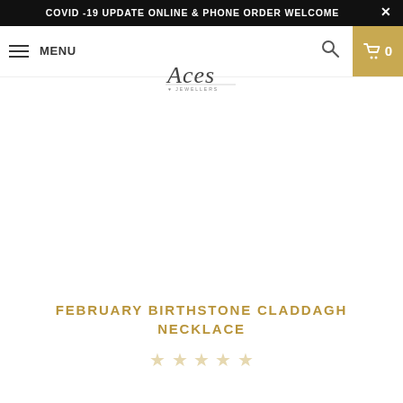COVID -19 UPDATE ONLINE & PHONE ORDER WELCOME
MENU  Aces Jewellers  [search] [cart 0]
[Figure (photo): White/empty product image area for a February Birthstone Claddagh Necklace]
FEBRUARY BIRTHSTONE CLADDAGH NECKLACE
☆☆☆☆☆ (star rating, no reviews)